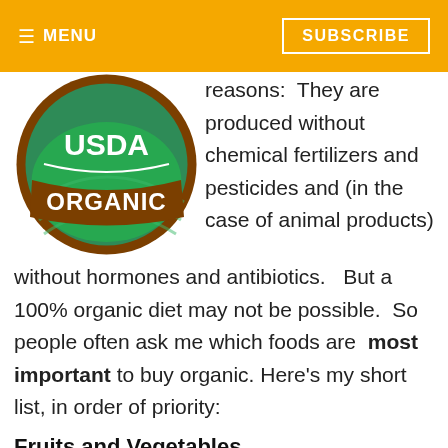≡ MENU   SUBSCRIBE
[Figure (logo): USDA Organic circular logo with green background and brown border]
reasons:  They are produced without chemical fertilizers and pesticides and (in the case of animal products) without hormones and antibiotics.   But a 100% organic diet may not be possible.  So people often ask me which foods are most important to buy organic. Here's my short list, in order of priority:
Fruits and Vegetables
Of all food types, pesticide residues are most common in fruits and vegetables. According to the FDA's most